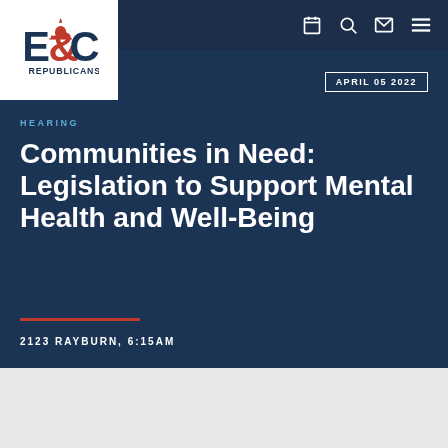[Figure (logo): E&C Republicans logo with Capitol building icon]
APRIL 05 2022
HEARING
Communities in Need: Legislation to Support Mental Health and Well-Being
2123 RAYBURN, 6:15AM